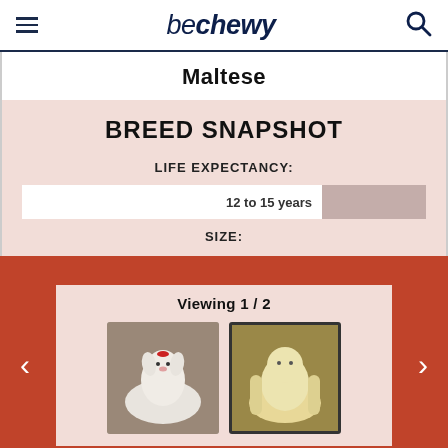be chewy
Maltese
BREED SNAPSHOT
LIFE EXPECTANCY:
12 to 15 years
SIZE:
Viewing 1 / 2
[Figure (photo): White Maltese dog sitting, fluffy long coat]
[Figure (photo): Cream/golden colored long-haired dog, possibly Maltese mix]